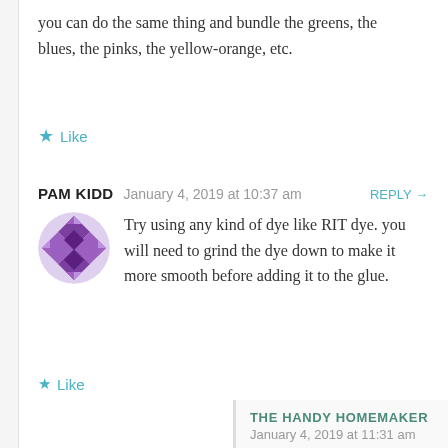you can do the same thing and bundle the greens, the blues, the pinks, the yellow-orange, etc.
Like
PAM KIDD   January 4, 2019 at 10:37 am   REPLY →
Try using any kind of dye like RIT dye. you will need to grind the dye down to make it more smooth before adding it to the glue.
Like
THE HANDY HOMEMAKER
January 4, 2019 at 11:31 am
Thank you for your tip. The purpose